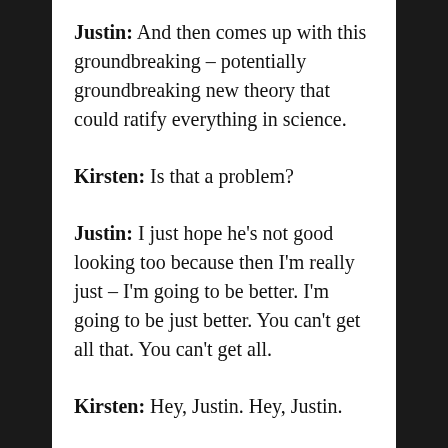Justin: And then comes up with this groundbreaking – potentially groundbreaking new theory that could ratify everything in science.
Kirsten: Is that a problem?
Justin: I just hope he's not good looking too because then I'm really just – I'm going to be better. I'm going to be just better. You can't get all that. You can't get all.
Kirsten: Hey, Justin. Hey, Justin.
Justin: Nobody can have it all. It's not fair